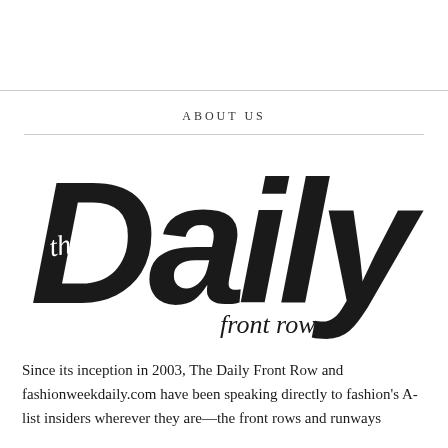ABOUT US
[Figure (logo): The Daily Front Row logo — large bold black italic 'Daily' text with script 'the' overlaid on the D, and script 'front row' below the y]
Since its inception in 2003, The Daily Front Row and fashionweekdaily.com have been speaking directly to fashion's A-list insiders wherever they are—the front rows and runways